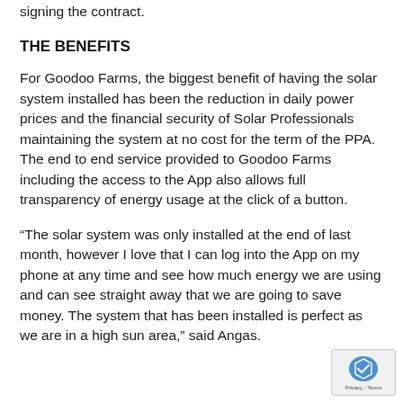signing the contract.
THE BENEFITS
For Goodoo Farms, the biggest benefit of having the solar system installed has been the reduction in daily power prices and the financial security of Solar Professionals maintaining the system at no cost for the term of the PPA. The end to end service provided to Goodoo Farms including the access to the App also allows full transparency of energy usage at the click of a button.
“The solar system was only installed at the end of last month, however I love that I can log into the App on my phone at any time and see how much energy we are using and can see straight away that we are going to save money. The system that has been installed is perfect as we are in a high sun area,” said Angas.